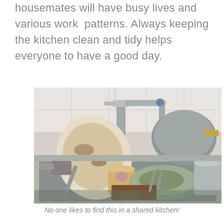housemates will have busy lives and various work patterns. Always keeping the kitchen clean and tidy helps everyone to have a good day.
[Figure (photo): A kitchen sink overflowing with dirty dishes, pots, pans, mugs, and utensils piled high, with a chrome faucet visible in the background against white tiles.]
No one likes to find this in a shared kitchen!